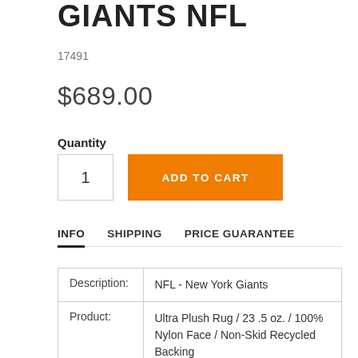GIANTS NFL
17491
$689.00
Quantity
1
ADD TO CART
INFO   SHIPPING   PRICE GUARANTEE
| Description: | NFL - New York Giants |
| Product: | Ultra Plush Rug / 23 .5 oz. / 100% Nylon Face / Non-Skid Recycled Backing |
| Item | 17491 |